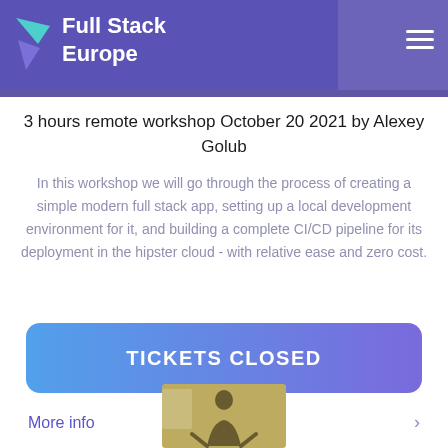Full Stack Europe
Modern Full-Stack App via Hipster Cloud
3 hours remote workshop October 20 2021 by Alexey Golub
In this workshop we will go through the process of creating a simple modern full stack app, setting up a local development environment for it, and building a complete CI/CD pipeline for its deployment in the hipster cloud - with relative ease and zero cost.
TICKETS CLOSED
More info
[Figure (photo): Photo of a speaker presenting in front of a whiteboard]